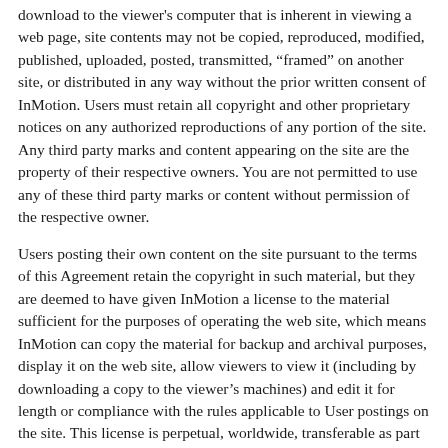download to the viewer's computer that is inherent in viewing a web page, site contents may not be copied, reproduced, modified, published, uploaded, posted, transmitted, "framed" on another site, or distributed in any way without the prior written consent of InMotion. Users must retain all copyright and other proprietary notices on any authorized reproductions of any portion of the site. Any third party marks and content appearing on the site are the property of their respective owners. You are not permitted to use any of these third party marks or content without permission of the respective owner.
Users posting their own content on the site pursuant to the terms of this Agreement retain the copyright in such material, but they are deemed to have given InMotion a license to the material sufficient for the purposes of operating the web site, which means InMotion can copy the material for backup and archival purposes, display it on the web site, allow viewers to view it (including by downloading a copy to the viewer's machines) and edit it for length or compliance with the rules applicable to User postings on the site. This license is perpetual, worldwide, transferable as part of any transfer of the website in whole or in